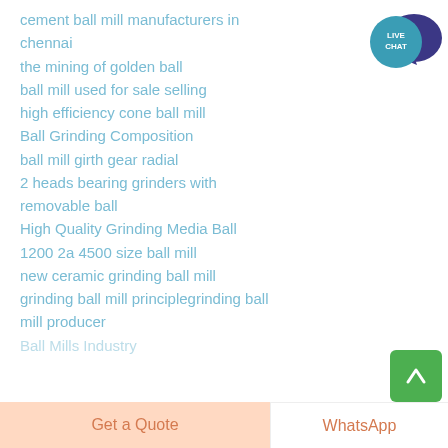cement ball mill manufacturers in chennai
the mining of golden ball
ball mill used for sale selling
high efficiency cone ball mill
Ball Grinding Composition
ball mill girth gear radial
2 heads bearing grinders with removable ball
High Quality Grinding Media Ball
1200 2a 4500 size ball mill
new ceramic grinding ball mill
grinding ball mill principlegrinding ball mill producer
Ball Mills Industry
[Figure (illustration): Live Chat speech bubble icon — teal circle with 'LIVE CHAT' text and dark blue speech bubble overlay]
[Figure (illustration): Green scroll-to-top button with upward arrow]
Get a Quote
WhatsApp